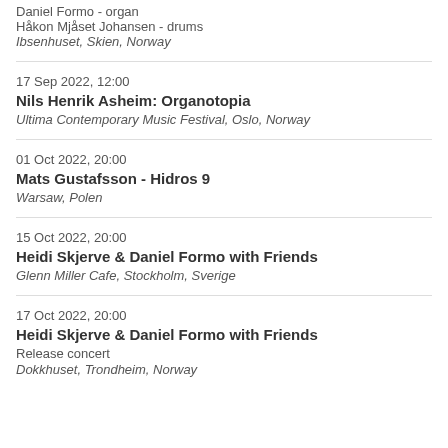Daniel Formo - organ
Håkon Mjåset Johansen - drums
Ibsenhuset, Skien, Norway
17 Sep 2022, 12:00
Nils Henrik Asheim: Organotopia
Ultima Contemporary Music Festival, Oslo, Norway
01 Oct 2022, 20:00
Mats Gustafsson - Hidros 9
Warsaw, Polen
15 Oct 2022, 20:00
Heidi Skjerve & Daniel Formo with Friends
Glenn Miller Cafe, Stockholm, Sverige
17 Oct 2022, 20:00
Heidi Skjerve & Daniel Formo with Friends
Release concert
Dokkhuset, Trondheim, Norway